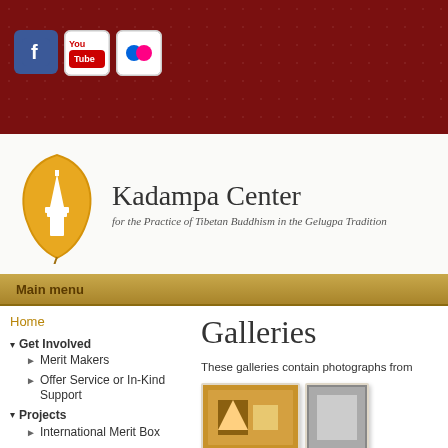[Figure (screenshot): Website banner with dark red background and dotted circular pattern, containing social media icons (Facebook, YouTube, Flickr)]
[Figure (logo): Kadampa Center logo: golden leaf shape with white stupa/pagoda inside]
Kadampa Center
for the Practice of Tibetan Buddhism in the Gelugpa Tradition
Main menu
Home
▾ Get Involved
Merit Makers
Offer Service or In-Kind Support
▾ Projects
International Merit Box
Galleries
These galleries contain photographs from
[Figure (photo): Two partially visible photo thumbnails at the bottom right of the page]